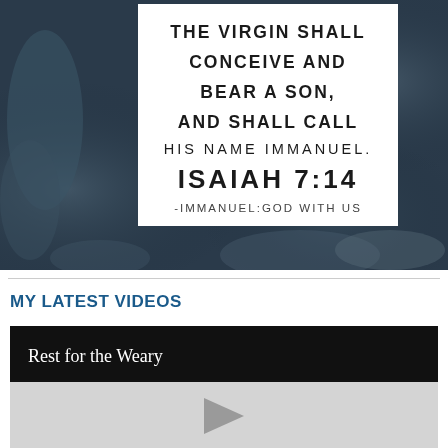[Figure (infographic): Dark blue winter landscape background with a white text box overlay containing a Bible verse: 'THE VIRGIN SHALL CONCEIVE AND BEAR A SON, AND SHALL CALL HIS NAME IMMANUEL. ISAIAH 7:14 -IMMANUEL:GOD WITH US']
MY LATEST VIDEOS
[Figure (screenshot): Video thumbnail with black title bar reading 'Rest for the Weary' and a light gray area below with a play button arrow]